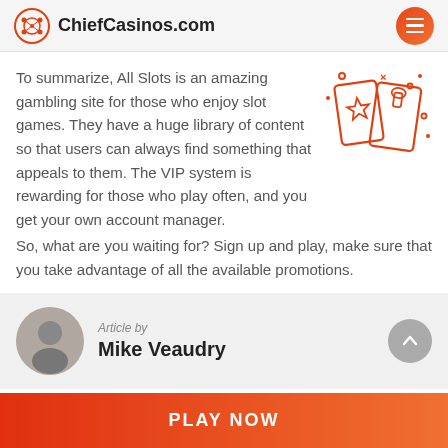ChiefCasinos.com
To summarize, All Slots is an amazing gambling site for those who enjoy slot games. They have a huge library of content so that users can always find something that appeals to them. The VIP system is rewarding for those who play often, and you get your own account manager. So, what are you waiting for? Sign up and play, make sure that you take advantage of all the available promotions.
[Figure (illustration): Red line-art illustration of casino cards and slot machine icons with decorative dots and stars]
Article by Mike Veaudry
PLAY NOW